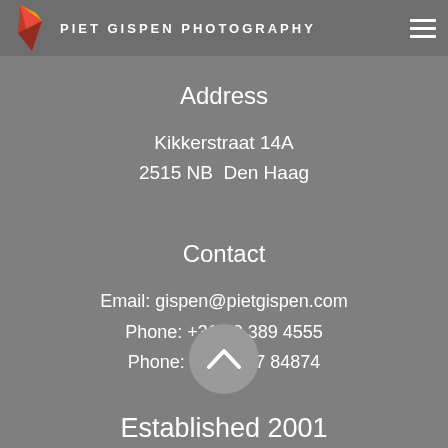PIET GISPEN PHOTOGRAPHY
Address
Kikkerstraat 14A
2515 NB  Den Haag
Contact
Email: gispen@pietgispen.com
Phone: +31 70 389 4555
Phone: +31 6227 84874
[Figure (illustration): Circular scroll-to-top button with upward chevron arrow]
Established 2001